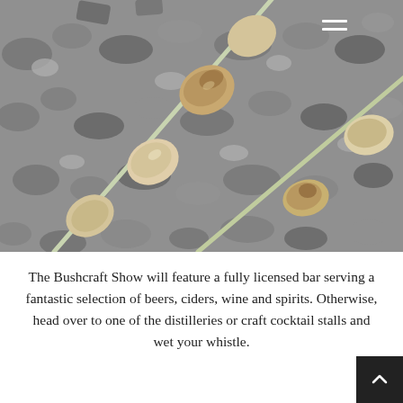[Figure (photo): Close-up photograph of bread or dough twisted around sticks/skewers, resting on grey charcoal embers. The dough appears lightly browned and toasted. A hamburger menu icon (three white horizontal lines) is visible in the top-right corner of the image.]
The Bushcraft Show will feature a fully licensed bar serving a fantastic selection of beers, ciders, wine and spirits. Otherwise, head over to one of the distilleries or craft cocktail stalls and wet your whistle.